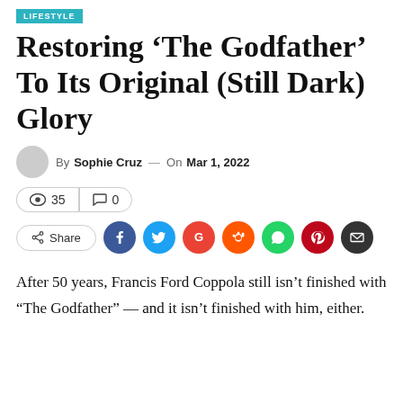LIFESTYLE
Restoring ‘The Godfather’ To Its Original (Still Dark) Glory
By Sophie Cruz — On Mar 1, 2022
35 views, 0 comments
Share
After 50 years, Francis Ford Coppola still isn’t finished with “The Godfather” — and it isn’t finished with him, either.